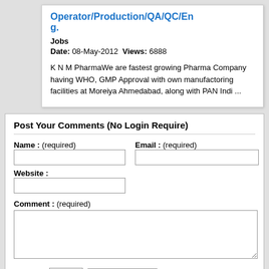Operator/Production/QA/QC/Eng.
Jobs
Date: 08-May-2012  Views: 6888
K N M PharmaWe are fastest growing Pharma Company having WHO, GMP Approval with own manufactoring facilities at Moreiya Ahmedabad, along with PAN Indi ...
Post Your Comments (No Login Require)
Name : (required)
Email : (required)
Website :
Comment : (required)
30  + 3 =
Comments